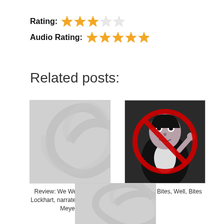Rating: ★★★☆☆
Audio Rating: ★★★★★
Related posts:
[Figure (photo): Placeholder grey image with swirl pattern for book review post]
Review: We Were Liars, E. Lockhart, narrated by Ariadne Meyers
[Figure (photo): Count from Sesame Street with a red prohibition/no symbol overlaid]
Wuthering Bites, Well, Bites
[Figure (photo): Placeholder grey image with swirl pattern, partially visible at bottom]